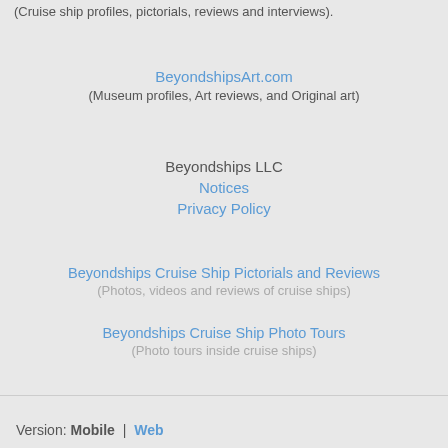(Cruise ship profiles, pictorials, reviews and interviews).
BeyondshipsArt.com
(Museum profiles, Art reviews, and Original art)
Beyondships LLC
Notices
Privacy Policy
Beyondships Cruise Ship Pictorials and Reviews
(Photos, videos and reviews of cruise ships)
Beyondships Cruise Ship Photo Tours
(Photo tours inside cruise ships)
Version: Mobile | Web